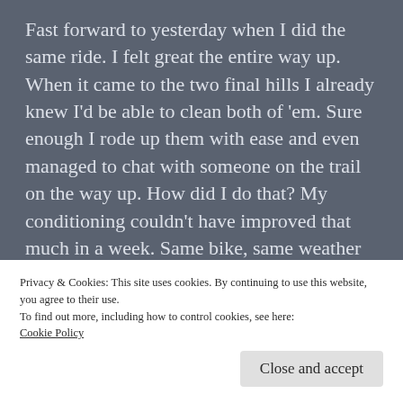Fast forward to yesterday when I did the same ride. I felt great the entire way up. When it came to the two final hills I already knew I'd be able to clean both of 'em. Sure enough I rode up them with ease and even managed to chat with someone on the trail on the way up. How did I do that? My conditioning couldn't have improved that much in a week. Same bike, same weather conditions, same breakfast. There's something about a positive mental
Privacy & Cookies: This site uses cookies. By continuing to use this website, you agree to their use.
To find out more, including how to control cookies, see here:
Cookie Policy
Close and accept